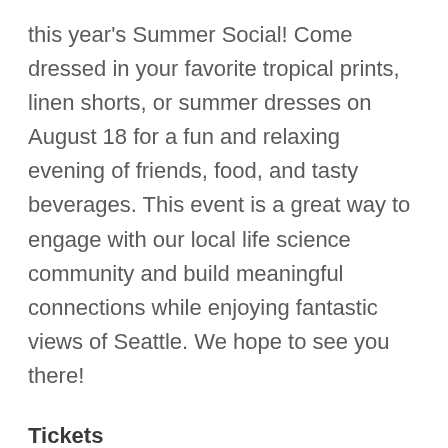this year's Summer Social! Come dressed in your favorite tropical prints, linen shorts, or summer dresses on August 18 for a fun and relaxing evening of friends, food, and tasty beverages. This event is a great way to engage with our local life science community and build meaningful connections while enjoying fantastic views of Seattle. We hope to see you there!
Tickets
Members: $55
Non-Members: $75